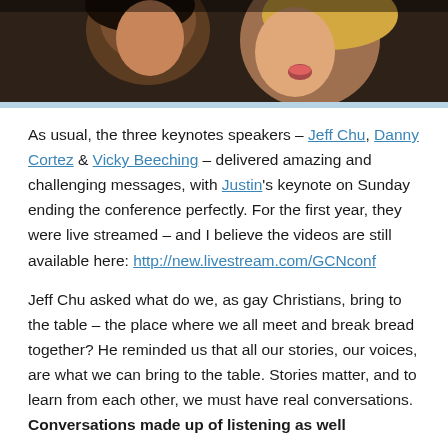[Figure (photo): Cropped photograph showing two people, partially visible at top of page, dark background]
As usual, the three keynotes speakers – Jeff Chu, Danny Cortez & Vicky Beeching – delivered amazing and challenging messages, with Justin's keynote on Sunday ending the conference perfectly. For the first year, they were live streamed – and I believe the videos are still available here: http://new.livestream.com/GCNconf
Jeff Chu asked what do we, as gay Christians, bring to the table – the place where we all meet and break bread together? He reminded us that all our stories, our voices, are what we can bring to the table. Stories matter, and to learn from each other, we must have real conversations. Conversations made up of listening as well